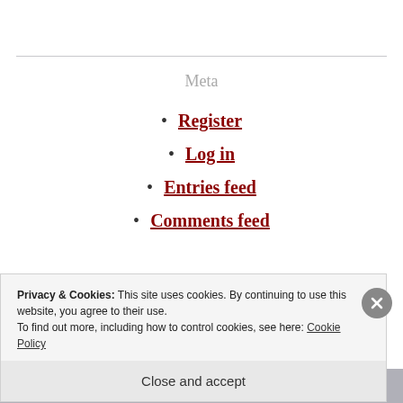Meta
Register
Log in
Entries feed
Comments feed
Privacy & Cookies: This site uses cookies. By continuing to use this website, you agree to their use.
To find out more, including how to control cookies, see here: Cookie Policy
Close and accept